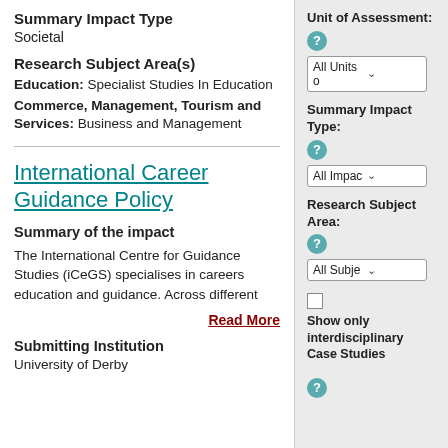Summary Impact Type
Societal
Research Subject Area(s)
Education: Specialist Studies In Education
Commerce, Management, Tourism and Services: Business and Management
International Career Guidance Policy
Summary of the impact
The International Centre for Guidance Studies (iCeGS) specialises in careers education and guidance. Across different
Read More
Submitting Institution
University of Derby
Unit of Assessment:
All Units
Summary Impact Type:
All Impac
Research Subject Area:
All Subje
Show only interdisciplinary Case Studies